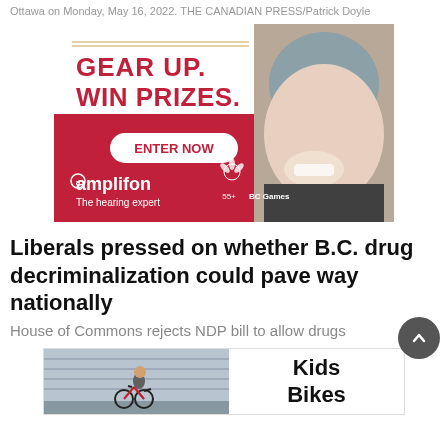Ottawa on Monday, May 16, 2022. THE CANADIAN PRESS/Patrick Doyle
[Figure (photo): Amplifon advertisement showing a smiling woman wearing a cycling helmet. Text reads 'GEAR UP. WIN PRIZES. ENTER NOW'. Amplifon logo and BC Games 55+ logo appear at the bottom. Background is dark red/crimson.]
Liberals pressed on whether B.C. drug decriminalization could pave way nationally
House of Commons rejects NDP bill to allow drugs
[Figure (photo): Bottom advertisement showing a child riding a red bike on the left side panel, and the text 'Kids Bikes' on the right white panel.]